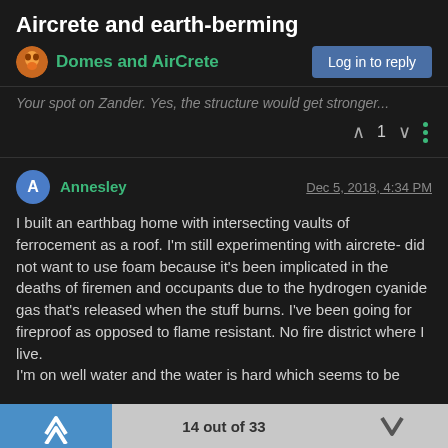Aircrete and earth-berming
Domes and AirCrete
Log in to reply
Your spot on Zander. Yes, the structure would get stronger...
1
Annesley   Dec 5, 2018, 4:34 PM
I built an earthbag home with intersecting vaults of ferrocement as a roof. I'm still experimenting with aircrete- did not want to use foam because it's been implicated in the deaths of firemen and occupants due to the hydrogen cyanide gas that's released when the stuff burns. I've been going for fireproof as opposed to flame resistant. No fire district where I live.
I'm on well water and the water is hard which seems to be
14 out of 33